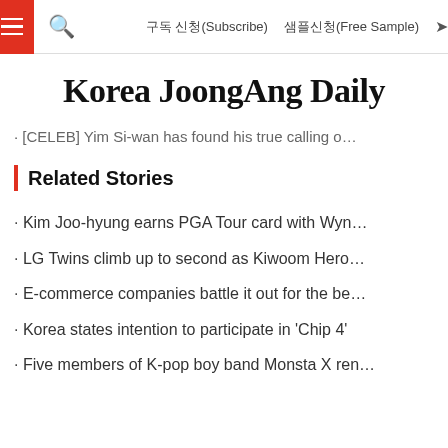구독 신청(Subscribe)  샘플신청(Free Sample)
Korea JoongAng Daily
[CELEB] Yim Si-wan has found his true calling o…
Related Stories
Kim Joo-hyung earns PGA Tour card with Wyn…
LG Twins climb up to second as Kiwoom Hero…
E-commerce companies battle it out for the be…
Korea states intention to participate in 'Chip 4'
Five members of K-pop boy band Monsta X ren…